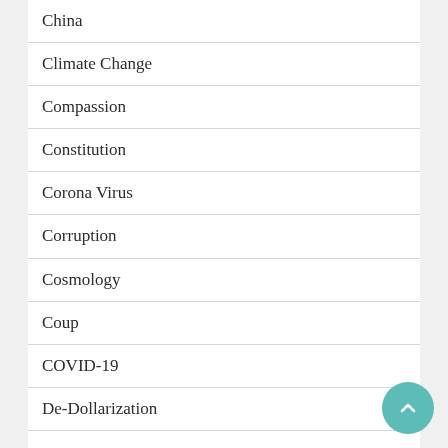China
Climate Change
Compassion
Constitution
Corona Virus
Corruption
Cosmology
Coup
COVID-19
De-Dollarization